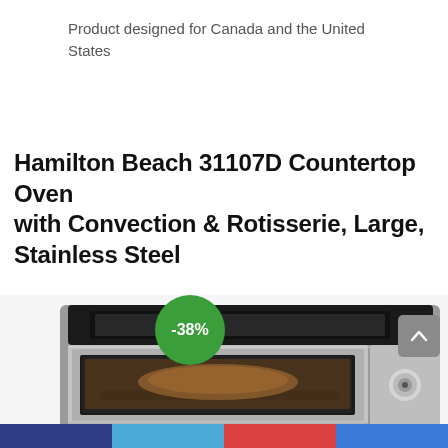Product designed for Canada and the United States
Hamilton Beach 31107D Countertop Oven with Convection & Rotisserie, Large, Stainless Steel
[Figure (photo): Hamilton Beach 31107D countertop oven, stainless steel, shown from a slightly elevated angle displaying the black top panel and glass door with food inside. A green circular badge showing -38% discount is overlaid on the upper-left of the image.]